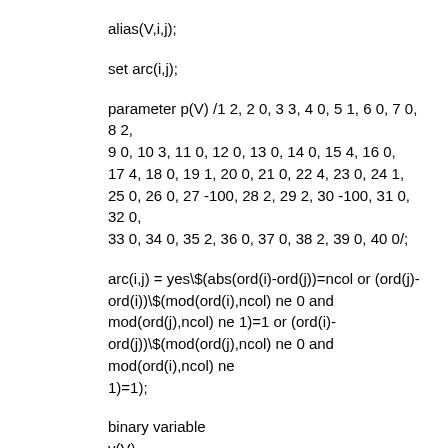alias(V,i,j);
set arc(i,j);
parameter p(V) /1 2, 2 0, 3 3, 4 0, 5 1, 6 0, 7 0, 8 2, 9 0, 10 3, 11 0, 12 0, 13 0, 14 0, 15 4, 16 0, 17 4, 18 0, 19 1, 20 0, 21 0, 22 4, 23 0, 24 1, 25 0, 26 0, 27 -100, 28 2, 29 2, 30 -100, 31 0, 32 0, 33 0, 34 0, 35 2, 36 0, 37 0, 38 2, 39 0, 40 0/;
arc(i,j) = yes\$(abs(ord(i)-ord(j))=ncol or (ord(j)-ord(i))\$(mod(ord(i),ncol) ne 0 and mod(ord(j),ncol) ne 1)=1 or (ord(i)-ord(j))\$(mod(ord(j),ncol) ne 0 and mod(ord(i),ncol) ne 1)=1);
binary variable v(V)